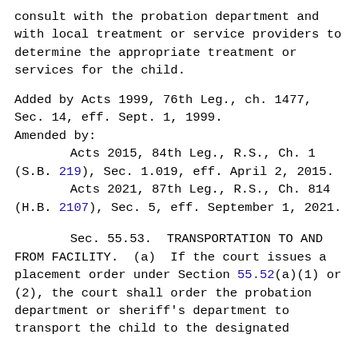consult with the probation department and with local treatment or service providers to determine the appropriate treatment or services for the child.
Added by Acts 1999, 76th Leg., ch. 1477, Sec. 14, eff. Sept. 1, 1999.
Amended by:
        Acts 2015, 84th Leg., R.S., Ch. 1 (S.B. 219), Sec. 1.019, eff. April 2, 2015.
        Acts 2021, 87th Leg., R.S., Ch. 814 (H.B. 2107), Sec. 5, eff. September 1, 2021.
Sec. 55.53.  TRANSPORTATION TO AND FROM FACILITY.  (a)  If the court issues a placement order under Section 55.52(a)(1) or (2), the court shall order the probation department or sheriff's department to transport the child to the designated